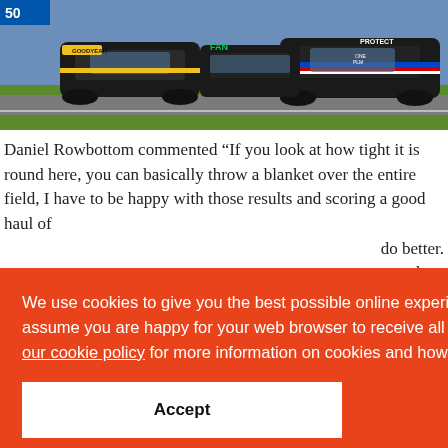[Figure (photo): Racing cars on a track, multiple touring cars lined up, green grass visible in background]
Daniel Rowbottom commented “If you look at how tight it is round here, you can basically throw a blanket over the entire field, I have to be happy with those results and scoring a good haul of ... do better. ... nd we ... ampers ... us in ... e points ... Sears
We use cookies to give you the best possible online experience. If you continue, we’ll assume you are happy for your web browser to receive all cookies from our website. See our cookie policy for more information on cookies and how to manage them.
Accept